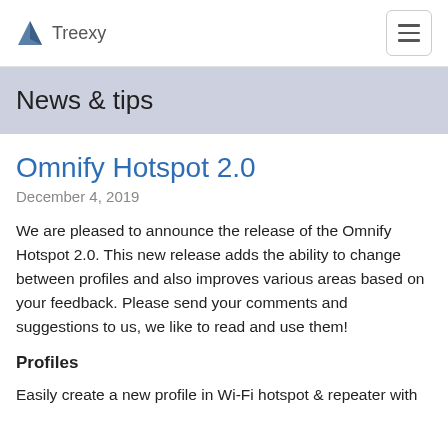Treexy
News & tips
Omnify Hotspot 2.0
December 4, 2019
We are pleased to announce the release of the Omnify Hotspot 2.0. This new release adds the ability to change between profiles and also improves various areas based on your feedback. Please send your comments and suggestions to us, we like to read and use them!
Profiles
Easily create a new profile in Wi-Fi hotspot & repeater with